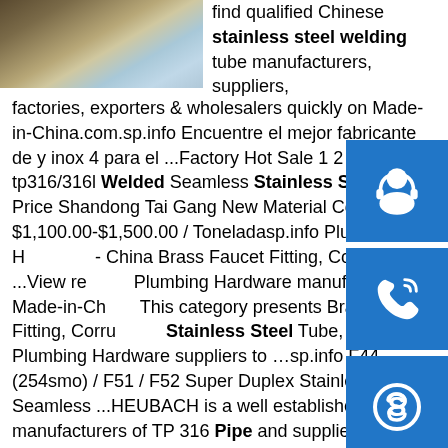[Figure (photo): Photo of metal pipes/tubes stacked together, partially visible in top-left corner]
find qualified Chinese stainless steel welding tube manufacturers, suppliers, factories, exporters & wholesalers quickly on Made-in-China.com.sp.info Encuentre el mejor fabricante de y inox 4 para el ...Factory Hot Sale 1 2 4 Inch Inox tp316/316l Welded Seamless Stainless Steel Pipe Price Shandong Tai Gang New Material Co., Ltd. $1,100.00-$1,500.00 / Toneladasp.info Plumbing Hardware - China Brass Faucet Fitting, Corrugated ...View reliable Plumbing Hardware manufacturers on Made-in-China. This category presents Brass Faucet Fitting, Corrugated Stainless Steel Tube, from China Plumbing Hardware suppliers to …sp.info F44 (254smo) / F51 / F52 Super Duplex Stainless Seamless ...HEUBACH is a well established manufacturers of TP 316 Pipe and suppliers of ASTM A312 TP316 Pipe, 316 stainless steel Seamless Pipe.As a 316 stainless steel tube suppliers we offer best price from manufacturers of 316 stainless steel Pipes, ASTM A312 TP316 Stainless Steel Pipe including
[Figure (infographic): Three blue square buttons on the right side: customer service/headset icon, phone/call icon, Skype icon]